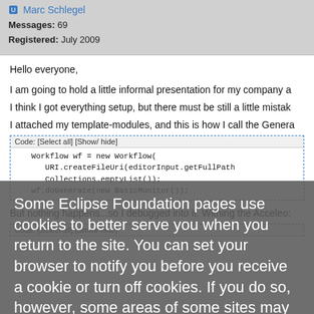Marc Schlegel
Messages: 69
Registered: July 2009
Hello everyone,
I am going to hold a little informal presentation for my company a
I think I got everything setup, but there must be still a little mistak
I attached my template-modules, and this is how I call the Genera
Code: [Select all] [Show/ hide]
Workflow wf = new Workflow(
   URI.createFileUri(editorInput.getFullPath
   Collections.emptyList());
wf.doGenerate(new BasicMonitor());
Some Eclipse Foundation pages use cookies to better serve you when you return to the site. You can set your browser to notify you before you receive a cookie or turn off cookies. If you do so, however, some areas of some sites may not function properly. To read Eclipse Foundation Privacy Policy click here.
Decline
Allow cookies
But nothing happens...so I debugged into it. Withing the Acceleo:
Code: [Select all] [Show/ hide]